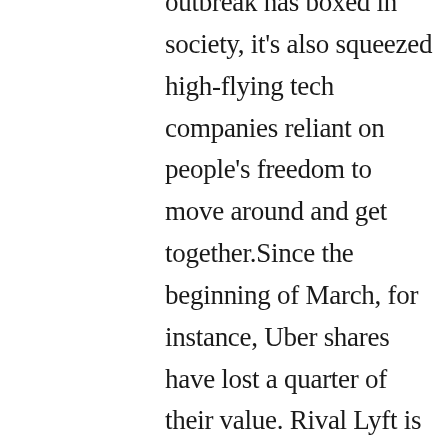outbreak has boxed in society, it's also squeezed high-flying tech companies reliant on people's freedom to move around and get together.Since the beginning of March, for instance, Uber shares have lost a quarter of their value. Rival Lyft is down 28 percent. Over the same period, the S&P 500 has fallen just 10 percent, even with wild swings along the way. The